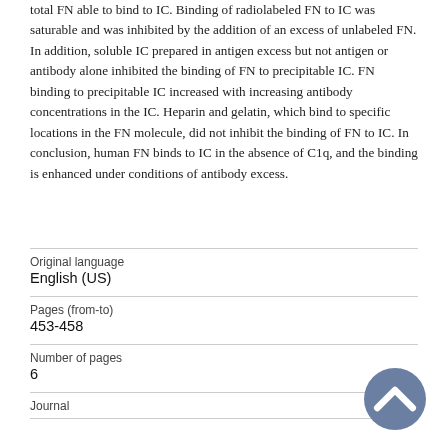total FN able to bind to IC. Binding of radiolabeled FN to IC was saturable and was inhibited by the addition of an excess of unlabeled FN. In addition, soluble IC prepared in antigen excess but not antigen or antibody alone inhibited the binding of FN to precipitable IC. FN binding to precipitable IC increased with increasing antibody concentrations in the IC. Heparin and gelatin, which bind to specific locations in the FN molecule, did not inhibit the binding of FN to IC. In conclusion, human FN binds to IC in the absence of C1q, and the binding is enhanced under conditions of antibody excess.
| Field | Value |
| --- | --- |
| Original language | English (US) |
| Pages (from-to) | 453-458 |
| Number of pages | 6 |
| Journal |  |